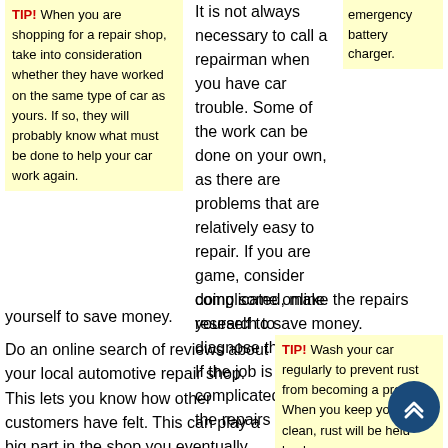TIP! When you are shopping for a repair shop, take into consideration whether they have worked on the same type of car as yours. If so, they will probably know what must be done to help your car work again.
It is not always necessary to call a repairman when you have car trouble. Some of the work can be done on your own, as there are problems that are relatively easy to repair. If you are game, consider doing some online research to diagnose the issue. If the job is not complicated, make the repairs yourself to save money.
emergency battery charger.
Do an online search of reviews about your local automotive repair shop. This lets you know how other customers have felt. This can play a big part in the shop you eventually choose to do your car repair work.
TIP! Wash your car regularly to prevent rust from becoming a problem. When you keep your car clean, rust will be held back.